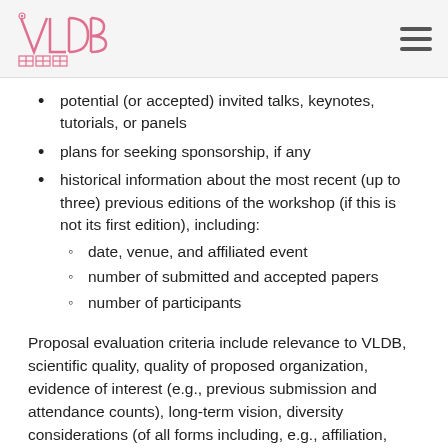VLDB logo and navigation
potential (or accepted) invited talks, keynotes, tutorials, or panels
plans for seeking sponsorship, if any
historical information about the most recent (up to three) previous editions of the workshop (if this is not its first edition), including:
date, venue, and affiliated event
number of submitted and accepted papers
number of participants
Proposal evaluation criteria include relevance to VLDB, scientific quality, quality of proposed organization, evidence of interest (e.g., previous submission and attendance counts), long-term vision, diversity considerations (of all forms including, e.g., affiliation, geography, gender, race, seniority, etc.), and difference from other proposals.